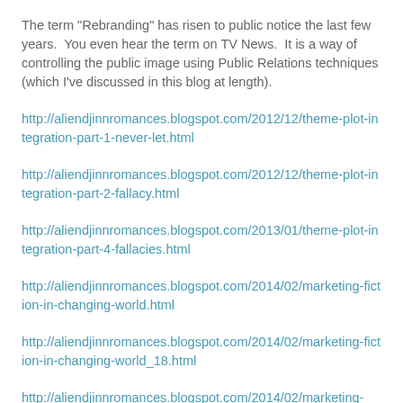The term "Rebranding" has risen to public notice the last few years.  You even hear the term on TV News.  It is a way of controlling the public image using Public Relations techniques (which I've discussed in this blog at length).
http://aliendjinnromances.blogspot.com/2012/12/theme-plot-integration-part-1-never-let.html
http://aliendjinnromances.blogspot.com/2012/12/theme-plot-integration-part-2-fallacy.html
http://aliendjinnromances.blogspot.com/2013/01/theme-plot-integration-part-4-fallacies.html
http://aliendjinnromances.blogspot.com/2014/02/marketing-fiction-in-changing-world.html
http://aliendjinnromances.blogspot.com/2014/02/marketing-fiction-in-changing-world_18.html
http://aliendjinnromances.blogspot.com/2014/02/marketing-